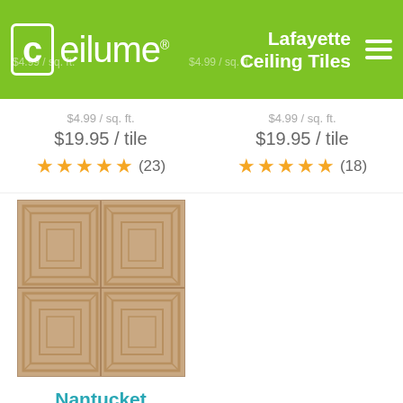ceilume® | Lafayette Ceiling Tiles
$19.95 / tile
★★★★★ (23)
$19.95 / tile
★★★★★ (18)
[Figure (photo): Nantucket Ceiling Tile product image showing a decorative beige/tan ceiling tile with embossed concentric square pattern in a 2x2 grid arrangement]
Nantucket Ceiling Tiles
$4.99 / sq. ft.
$19.95 / tile